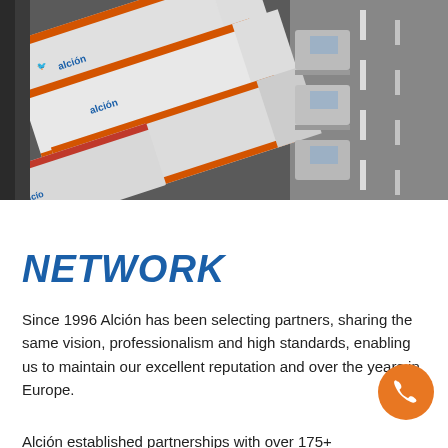[Figure (photo): Aerial/overhead view of multiple white Alción-branded semi-trucks with orange stripe trailers parked at a loading dock or distribution center]
NETWORK
Since 1996 Alción has been selecting partners, sharing the same vision, professionalism and high standards, enabling us to maintain our excellent reputation and over the years in Europe.
Alción established partnerships with over 175+